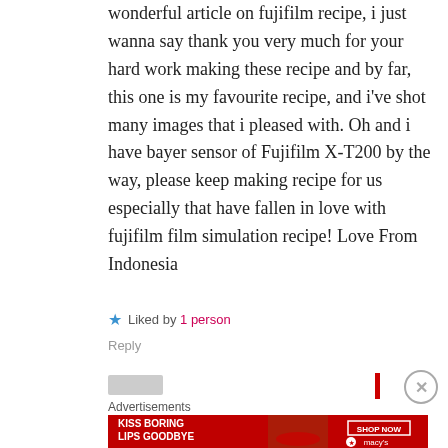wonderful article on fujifilm recipe, i just wanna say thank you very much for your hard work making these recipe and by far, this one is my favourite recipe, and i've shot many images that i pleased with. Oh and i have bayer sensor of Fujifilm X-T200 by the way, please keep making recipe for us especially that have fallen in love with fujifilm film simulation recipe! Love From Indonesia
Liked by 1 person
Reply
Advertisements
[Figure (photo): Macy's advertisement banner: KISS BORING LIPS GOODBYE, SHOP NOW, macys star logo, woman with red lipstick]